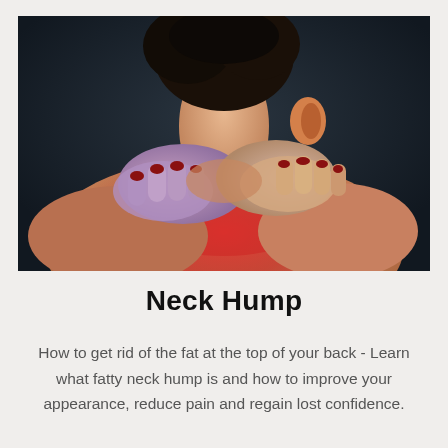[Figure (photo): Person seen from behind, holding the back of their neck with both hands, with reddish inflamed skin visible on the upper back and neck area, suggesting pain or discomfort in the neck hump region.]
Neck Hump
How to get rid of the fat at the top of your back - Learn what fatty neck hump is and how to improve your appearance, reduce pain and regain lost confidence.